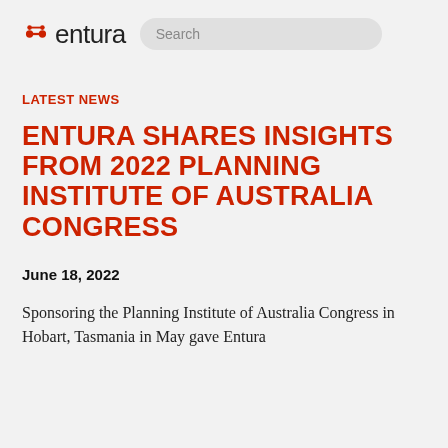entura | Search
LATEST NEWS
ENTURA SHARES INSIGHTS FROM 2022 PLANNING INSTITUTE OF AUSTRALIA CONGRESS
June 18, 2022
Sponsoring the Planning Institute of Australia Congress in Hobart, Tasmania in May gave Entura